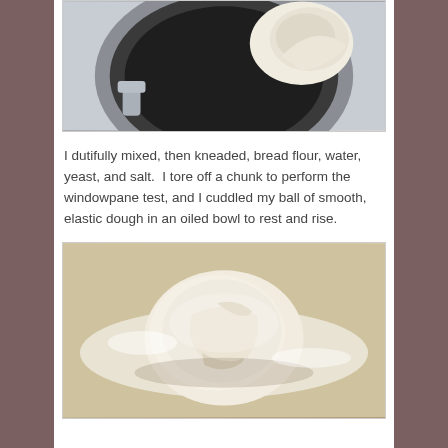[Figure (photo): A stand mixer bowl viewed from above with a lump of bread dough inside, showing the metal bowl and mixer attachment]
I dutifully mixed, then kneaded, bread flour, water, yeast, and salt.  I tore off a chunk to perform the windowpane test, and I cuddled my ball of smooth, elastic dough in an oiled bowl to rest and rise.
[Figure (photo): A smooth ball of bread dough resting on a floured wooden surface, with flour scattered around it]